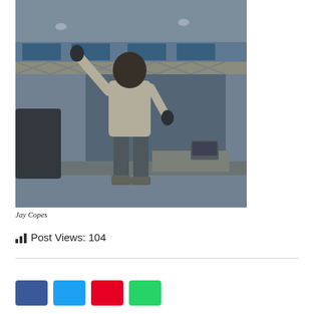[Figure (photo): A performer standing on a stage or platform in an indoor venue, wearing a light-colored top and dark pants, with arms raised. Background shows metal truss rigging, blue banners, DJ equipment, and drapes.]
Jay Copes
Post Views: 104